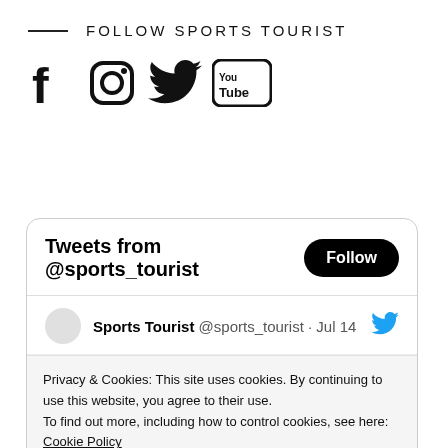FOLLOW SPORTS TOURIST
[Figure (illustration): Social media icons: Facebook, Instagram, Twitter, YouTube]
[Figure (screenshot): Twitter widget showing 'Tweets from @sports_tourist' with a Follow button, and a tweet by Sports Tourist @sports_tourist on Jul 14, with a cookie consent banner overlay saying 'Privacy & Cookies: This site uses cookies. By continuing to use this website, you agree to their use. To find out more, including how to control cookies, see here: Cookie Policy' and a Close and accept button.]